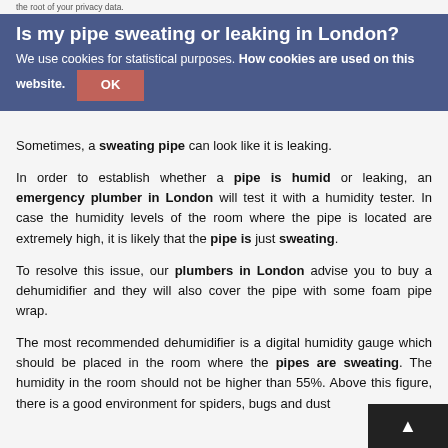the root of your privacy data.
Is my pipe sweating or leaking in London?
We use cookies for statistical purposes. How cookies are used on this website. OK
Sometimes, a sweating pipe can look like it is leaking.
In order to establish whether a pipe is humid or leaking, an emergency plumber in London will test it with a humidity tester. In case the humidity levels of the room where the pipe is located are extremely high, it is likely that the pipe is just sweating.
To resolve this issue, our plumbers in London advise you to buy a dehumidifier and they will also cover the pipe with some foam pipe wrap.
The most recommended dehumidifier is a digital humidity gauge which should be placed in the room where the pipes are sweating. The humidity in the room should not be higher than 55%. Above this figure, there is a good environment for spiders, bugs and dust mites which…